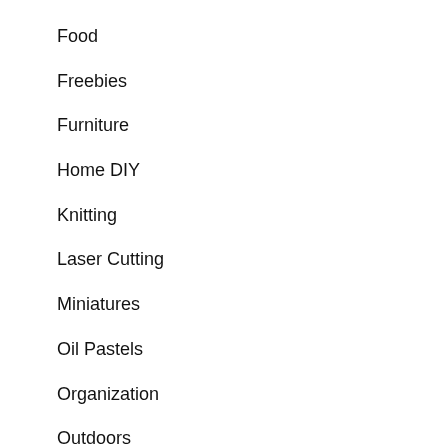Food
Freebies
Furniture
Home DIY
Knitting
Laser Cutting
Miniatures
Oil Pastels
Organization
Outdoors
Painting
Punch Needle